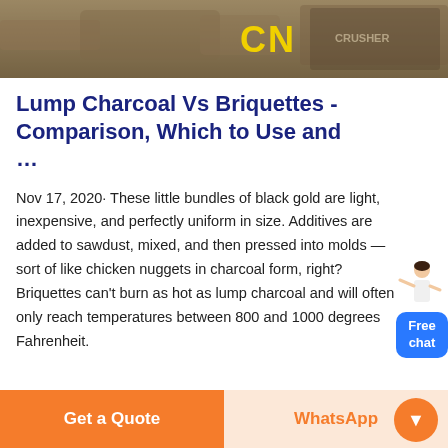[Figure (photo): Hero image showing a construction/charcoal site with yellow 'CN' text on a rock surface, brown/gray rocky ground]
Lump Charcoal Vs Briquettes - Comparison, Which to Use and …
Nov 17, 2020· These little bundles of black gold are light, inexpensive, and perfectly uniform in size. Additives are added to sawdust, mixed, and then pressed into molds — sort of like chicken nuggets in charcoal form, right? Briquettes can't burn as hot as lump charcoal and will often only reach temperatures between 800 and 1000 degrees Fahrenheit.
[Figure (illustration): Free chat widget with a woman figure pointing and a blue 'Free chat' button]
Get a Quote
WhatsApp